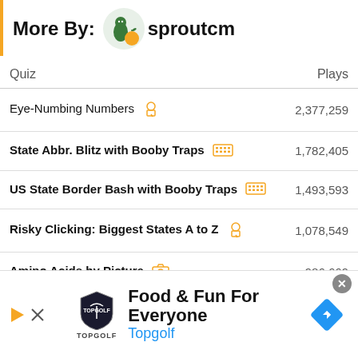More By: sproutcm
| Quiz | Plays |
| --- | --- |
| Eye-Numbing Numbers | 2,377,259 |
| State Abbr. Blitz with Booby Traps | 1,782,405 |
| US State Border Bash with Booby Traps | 1,493,593 |
| Risky Clicking: Biggest States A to Z | 1,078,549 |
| Amino Acids by Picture | 986,669 |
Go to Creator's Profile
[Figure (infographic): Topgolf advertisement banner: Food & Fun For Everyone — Topgolf]